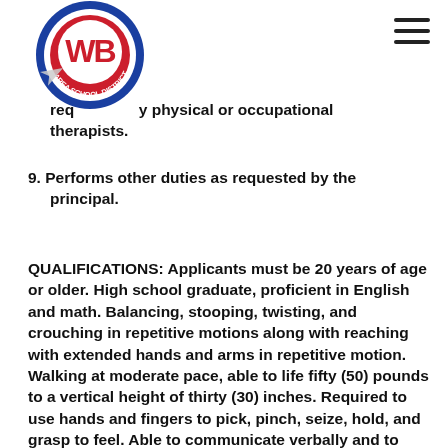[Figure (logo): West Branch Area School District circular logo with WB in red and blue]
required by physical or occupational therapists.
9. Performs other duties as requested by the principal.
QUALIFICATIONS: Applicants must be 20 years of age or older. High school graduate, proficient in English and math. Balancing, stooping, twisting, and crouching in repetitive motions along with reaching with extended hands and arms in repetitive motion. Walking at moderate pace, able to life fifty (50) pounds to a vertical height of thirty (30) inches. Required to use hands and fingers to pick, pinch, seize, hold, and grasp to feel. Able to communicate verbally and to have no more than a forty (40) decibel hearing loss. Vision clarity requirements